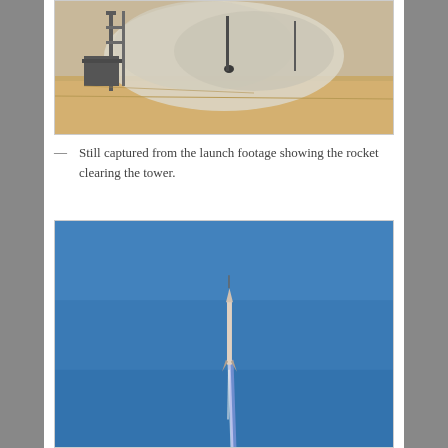[Figure (photo): Still from launch footage showing a rocket on a desert launch pad with smoke and dust cloud, launch tower visible in background on sandy terrain.]
— Still captured from the launch footage showing the rocket clearing the tower.
[Figure (photo): Rocket in flight against a blue sky, ascending vertically with a visible trail/plume beneath it.]